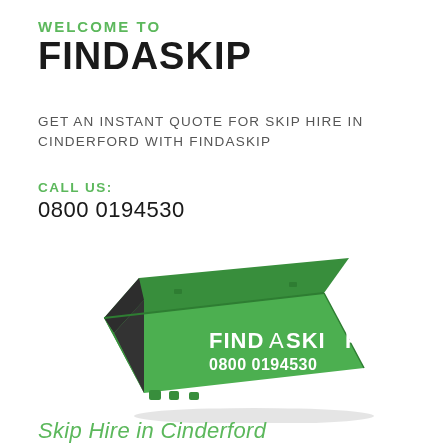WELCOME TO
FINDASKIP
GET AN INSTANT QUOTE FOR SKIP HIRE IN CINDERFORD WITH FINDASKIP
CALL US:
0800 0194530
[Figure (illustration): Green skip bin with FIND A SKIP logo and phone number 0800 0194530 printed on the side]
Skip Hire in Cinderford